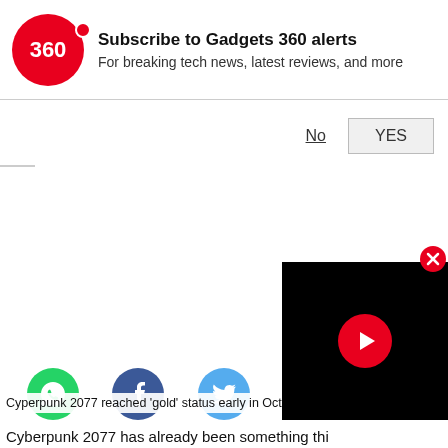Subscribe to Gadgets 360 alerts
For breaking tech news, latest reviews, and more
No
YES
[Figure (screenshot): Black video player with red play button circle and close (X) button in top right corner]
Cyperpunk 2077 reached 'gold' status early in Octobe
[Figure (infographic): Social sharing icons row: WhatsApp (green), Facebook (dark blue), Twitter (light blue), Snapchat (yellow), scroll-up arrow (grey)]
Cyberpunk 2077 has already been something thi